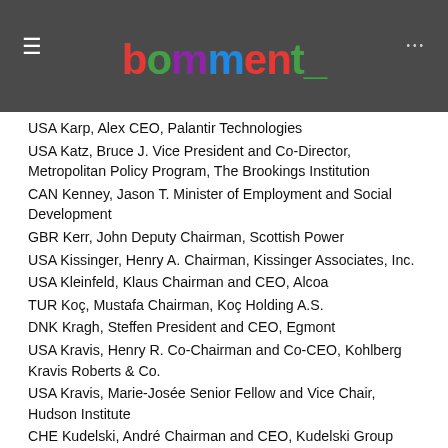bomment
USA Karp, Alex CEO, Palantir Technologies
USA Katz, Bruce J. Vice President and Co-Director, Metropolitan Policy Program, The Brookings Institution
CAN Kenney, Jason T. Minister of Employment and Social Development
GBR Kerr, John Deputy Chairman, Scottish Power
USA Kissinger, Henry A. Chairman, Kissinger Associates, Inc.
USA Kleinfeld, Klaus Chairman and CEO, Alcoa
TUR Koç, Mustafa Chairman, Koç Holding A.S.
DNK Kragh, Steffen President and CEO, Egmont
USA Kravis, Henry R. Co-Chairman and Co-CEO, Kohlberg Kravis Roberts & Co.
USA Kravis, Marie-Josée Senior Fellow and Vice Chair, Hudson Institute
CHE Kudelski, André Chairman and CEO, Kudelski Group
INT Lagarde, Christine Managing Director, International Monetary Fund